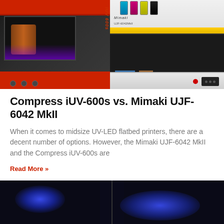[Figure (photo): Two UV-LED flatbed printers side by side on orange background: Compress iUV-600s (left, red/black machine with UV light) and Mimaki UJF-6042 MkII (right, white/black machine with ink tanks)]
Compress iUV-600s vs. Mimaki UJF-6042 MkII
When it comes to midsize UV-LED flatbed printers, there are a decent number of options. However, the Mimaki UJF-6042 MkII and the Compress iUV-600s are
Read More »
[Figure (photo): Close-up of a UV-LED printer bed glowing with blue UV light, showing the printing area illuminated in blue]